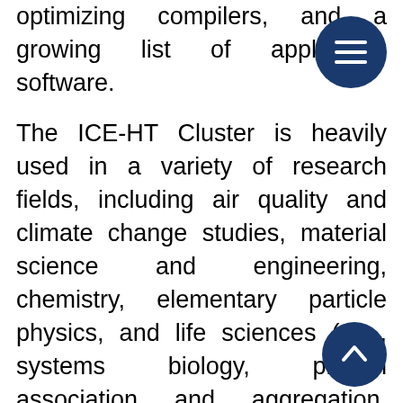optimizing compilers, and a growing list of application software.
The ICE-HT Cluster is heavily used in a variety of research fields, including air quality and climate change studies, material science and engineering, chemistry, elementary particle physics, and life sciences (e.g., systems biology, protein association and aggregation, supramolecular systems).
The Cluster has 31 compute nodes. Each compute node has two Intel Xeon two-core, quad-core, or six-core processors (5 X5365/X5560, and E5645 respectively) and 2 GB RAM per core. That results in a